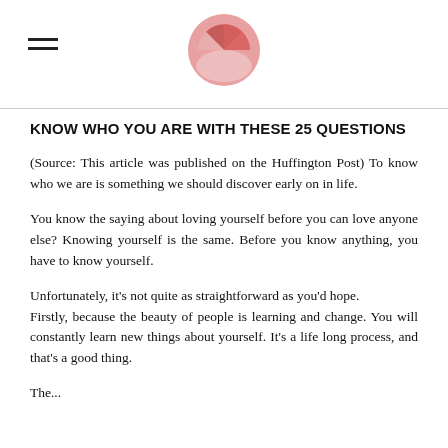[hamburger menu icon] [logo]
KNOW WHO YOU ARE WITH THESE 25 QUESTIONS
(Source: This article was published on the Huffington Post) To know who we are is something we should discover early on in life.
You know the saying about loving yourself before you can love anyone else? Knowing yourself is the same. Before you know anything, you have to know yourself.
Unfortunately, it's not quite as straightforward as you'd hope.
Firstly, because the beauty of people is learning and change. You will constantly learn new things about yourself. It's a life long process, and that's a good thing.
The...